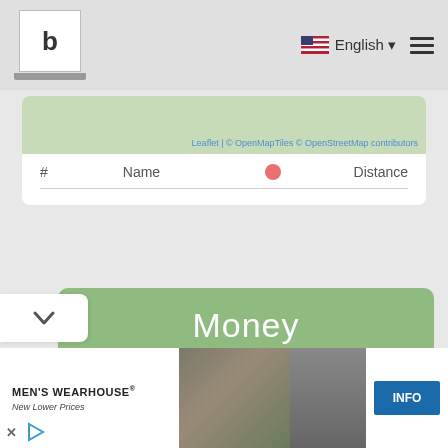b | English ☰
Leaflet | © OpenMapTiles © OpenStreetMap contributors
| # | Name | Distance |
| --- | --- | --- |
Money
ATMs ℹ
Banks ℹ
[Figure (photo): Men's Wearhouse advertisement showing a couple in formalwear and a man in a tuxedo. Text: MEN'S WEARHOUSE New Lower Prices. INFO button.]